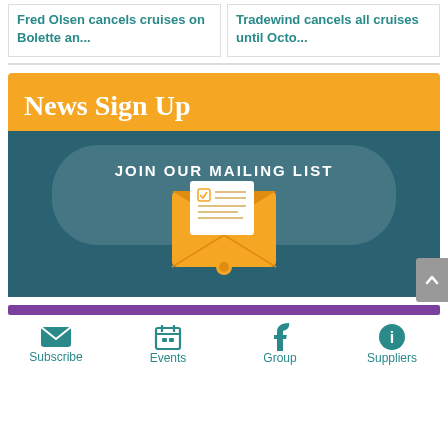Fred Olsen cancels cruises on Bolette an...
Tradewind cancels all cruises until Octo...
[Figure (infographic): News Sign Up banner with orange header reading 'News Sign Up' and teal background with 'JOIN OUR MAILING LIST' text and an illustrated envelope icon with a checkmark document inside.]
Subscribe
Events
Group
Suppliers